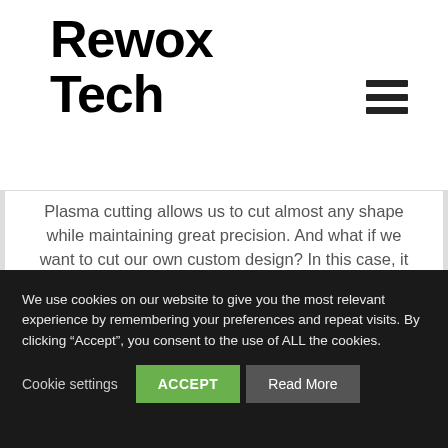Rewox Tech
Plasma cutting allows us to cut almost any shape while maintaining great precision. And what if we want to cut our own custom design? In this case, it is possible to adjust the parameters of the machine in accordance with the technical designs provided.
Check how it looks like: Machine park
We use cookies on our website to give you the most relevant experience by remembering your preferences and repeat visits. By clicking “Accept”, you consent to the use of ALL the cookies.